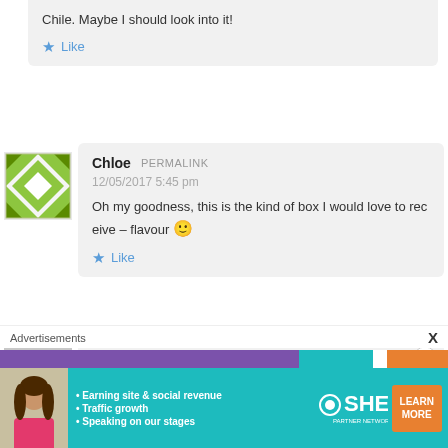Chile. Maybe I should look into it!
Like
Chloe  PERMALINK
12/05/2017 5:45 pm
Oh my goodness, this is the kind of box I would love to receive – flavour 🙂
Like
[Figure (illustration): Green geometric quilt-pattern avatar image]
Karen Yannacio Morse  PERMALINK
[Figure (photo): Grey silhouette person placeholder avatar]
Advertisements
[Figure (infographic): SHE Partner Network advertisement banner: Earning site & social revenue, Traffic growth, Speaking on our stages. LEARN MORE button.]